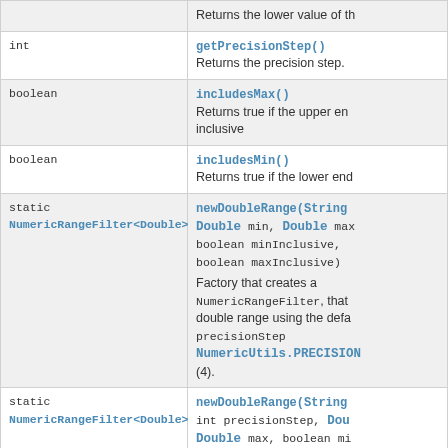| Type | Method / Description |
| --- | --- |
|  | Returns the lower value of th... |
| int | getPrecisionStep()
Returns the precision step. |
| boolean | includesMax()
Returns true if the upper end... inclusive |
| boolean | includesMin()
Returns true if the lower end... |
| static NumericRangeFilter<Double> | newDoubleRange(String ..., Double min, Double max, boolean minInclusive, boolean maxInclusive)
Factory that creates a NumericRangeFilter, that ... double range using the defa... precisionStep NumericUtils.PRECISION... (4). |
| static NumericRangeFilter<Double> | newDoubleRange(String ..., int precisionStep, Dou... Double max, boolean mi... boolean maxInclusive)
Factory that creates a NumericRangeFilter, that ... range using the given preci... |
| static NumericRangeFilter<Float> | newFloatRange(String f..., Float min, Float max, boolean minInclusive, |